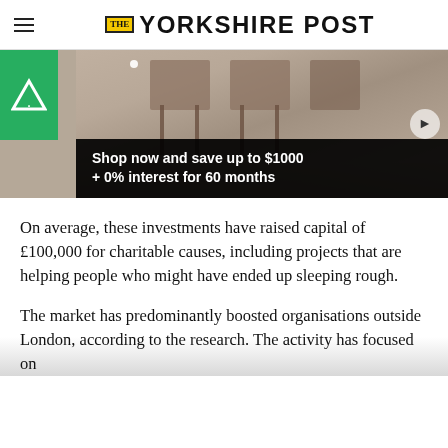THE YORKSHIRE POST
[Figure (photo): Advertisement banner showing furniture/room interior with text overlay: Shop now and save up to $1000 + 0% interest for 60 months. Green triangle logo (Avocado or similar brand) in top left.]
On average, these investments have raised capital of £100,000 for charitable causes, including projects that are helping people who might have ended up sleeping rough.
The market has predominantly boosted organisations outside London, according to the research. The activity has focused on